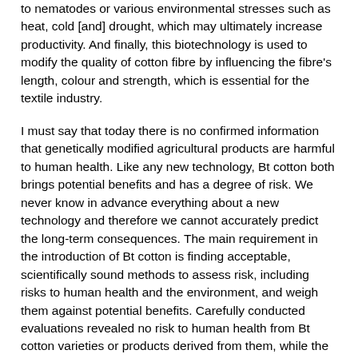to nematodes or various environmental stresses such as heat, cold [and] drought, which may ultimately increase productivity. And finally, this biotechnology is used to modify the quality of cotton fibre by influencing the fibre's length, colour and strength, which is essential for the textile industry.
I must say that today there is no confirmed information that genetically modified agricultural products are harmful to human health. Like any new technology, Bt cotton both brings potential benefits and has a degree of risk. We never know in advance everything about a new technology and therefore we cannot accurately predict the long-term consequences. The main requirement in the introduction of Bt cotton is finding acceptable, scientifically sound methods to assess risk, including risks to human health and the environment, and weigh them against potential benefits. Carefully conducted evaluations revealed no risk to human health from Bt cotton varieties or products derived from them, while the experiences of the countries that cultivate Bt cotton indicate its significant economic and social and environmental benefits.
But most important is the fact that an increasing number of socioeconomic indicators confirm the view that Bt cotton can